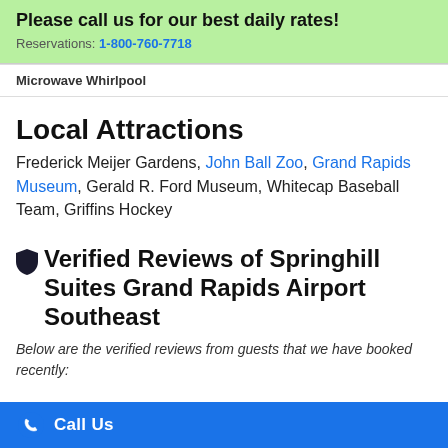Please call us for our best daily rates! Reservations: 1-800-760-7718
Microwave Whirlpool
Local Attractions
Frederick Meijer Gardens, John Ball Zoo, Grand Rapids Museum, Gerald R. Ford Museum, Whitecap Baseball Team, Griffins Hockey
Verified Reviews of Springhill Suites Grand Rapids Airport Southeast
Below are the verified reviews from guests that we have booked recently:
Call Us